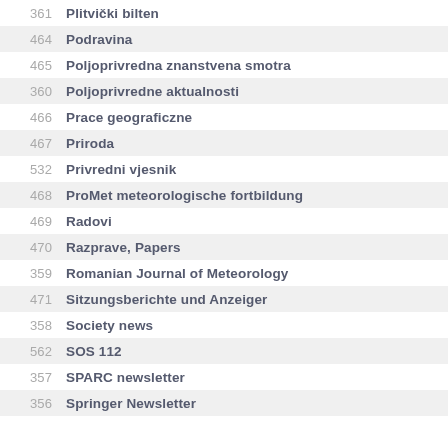361 Plitvički bilten
464 Podravina
465 Poljoprivredna znanstvena smotra
360 Poljoprivredne aktualnosti
466 Prace geograficzne
467 Priroda
532 Privredni vjesnik
468 ProMet meteorologische fortbildung
469 Radovi
470 Razprave, Papers
359 Romanian Journal of Meteorology
471 Sitzungsberichte und Anzeiger
358 Society news
562 SOS 112
357 SPARC newsletter
356 Springer Newsletter